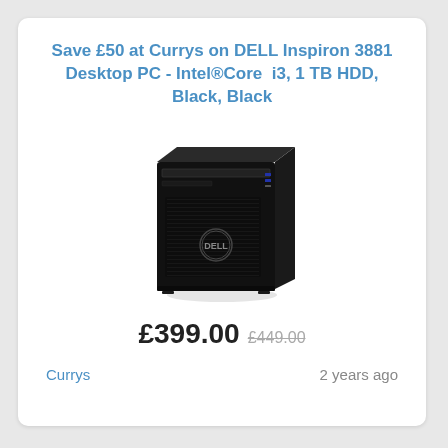Save £50 at Currys on DELL Inspiron 3881 Desktop PC - Intel®Core  i3, 1 TB HDD, Black, Black
[Figure (photo): DELL Inspiron 3881 Desktop PC tower in black color, front and side view showing the Dell logo, optical drive, and ventilation grille]
£399.00 £449.00
Currys
2 years ago